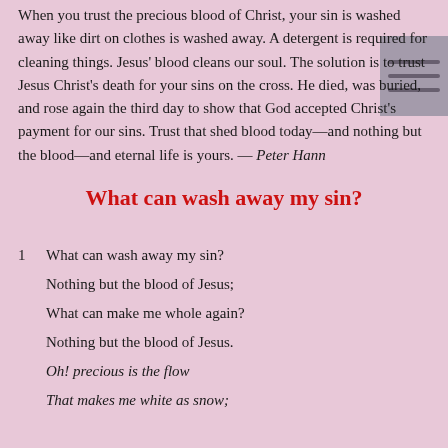When you trust the precious blood of Christ, your sin is washed away like dirt on clothes is washed away. A detergent is required for cleaning things. Jesus' blood cleans our soul. The solution is to trust Jesus Christ's death for your sins on the cross. He died, was buried, and rose again the third day to show that God accepted Christ's payment for our sins. Trust that shed blood today—and nothing but the blood—and eternal life is yours. — Peter Hann
What can wash away my sin?
1   What can wash away my sin?
Nothing but the blood of Jesus;
What can make me whole again?
Nothing but the blood of Jesus.
Oh! precious is the flow
That makes me white as snow;